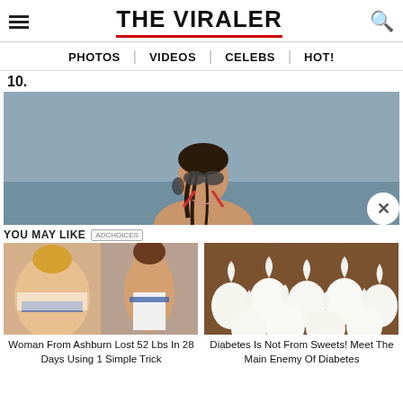THE VIRALER
PHOTOS | VIDEOS | CELEBS | HOT!
10.
[Figure (photo): Woman with sunglasses and wet hair posed against a grey sky background, wearing a red bikini top]
YOU MAY LIKE
[Figure (photo): Before and after photos of a woman who lost weight in a wedding dress]
Woman From Ashburn Lost 52 Lbs In 28 Days Using 1 Simple Trick
[Figure (photo): White meringue cookies piled together on a brown surface]
Diabetes Is Not From Sweets! Meet The Main Enemy Of Diabetes